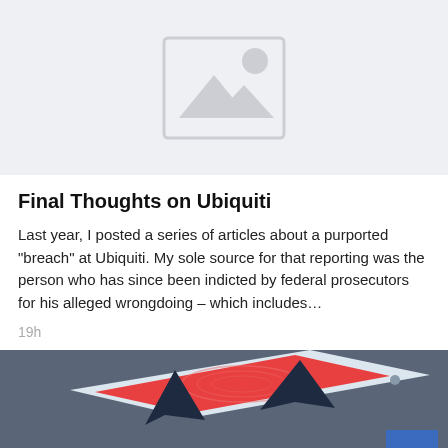[Figure (illustration): Gray placeholder image with mountain/landscape icon and circle (image not loaded)]
Final Thoughts on Ubiquiti
Last year, I posted a series of articles about a purported "breach" at Ubiquiti. My sole source for that reporting was the person who has since been indicted by federal prosecutors for his alleged wrongdoing – which includes…
19h
[Figure (illustration): Illustration of shark fins emerging from a red surface on a smartphone, suggesting a phishing or security threat. Background is dark gray-blue.]